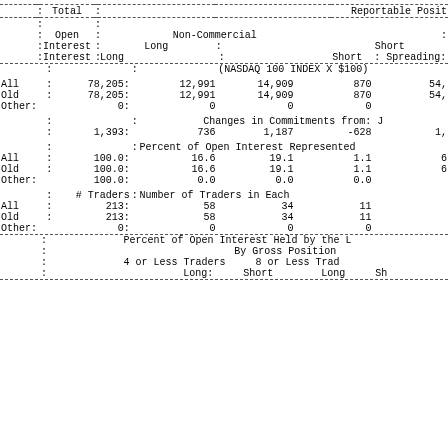|  | Total |  | Reportable Positions |  |  |  |
| --- | --- | --- | --- | --- | --- | --- |
|  | Open |  | Non-Commercial |  |  | Co |
|  | Interest | Long | Short | Spreading: | Long |
|  |  | (NASDAQ 100 INDEX X $100) |  |  |  |
| All | 78,205: | 12,991 | 14,909 | 870 | 54, |
| Old | 78,205: | 12,991 | 14,909 | 870 | 54, |
| Other: | 0: | 0 | 0 | 0 |  |
|  |  | Changes in Commitments from: J |  |  |  |
|  | 1,393: | 736 | 1,187 | -628 | 1, |
|  |  | Percent of Open Interest Represented |  |  |  |
| All | 100.0: | 16.6 | 19.1 | 1.1 | 6 |
| Old | 100.0: | 16.6 | 19.1 | 1.1 | 6 |
| Other: | 100.0: | 0.0 | 0.0 | 0.0 |  |
|  | # Traders |  | Number of Traders in Each |  |  |
| All | 213: | 58 | 34 | 11 |  |
| Old | 213: | 58 | 34 | 11 |  |
| Other: | 0: | 0 | 0 | 0 |  |
|  |  | Percent of Open Interest Held by the L |  |  |  |
|  |  | By Gross Position |  |  |  |
|  |  | 4 or Less Traders |  | 8 or Less Trad |  |
|  |  | Long: | Short | Long | Sh |